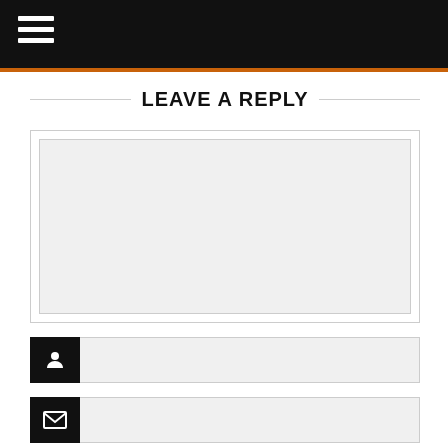Navigation header with hamburger menu
LEAVE A REPLY
[Figure (screenshot): Web form with textarea for comment and three input fields with icons: person/user icon, envelope/email icon, and chain link/URL icon]